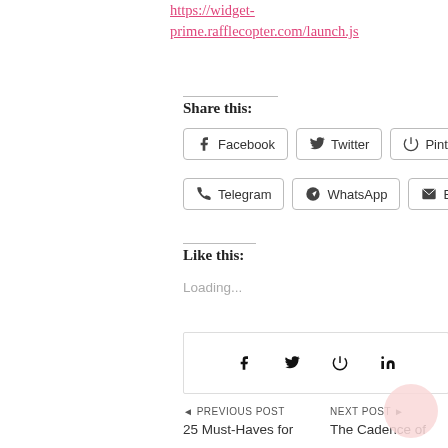https://widget-prime.rafflecopter.com/launch.js
Share this:
Facebook  Twitter  Pinterest
Telegram  WhatsApp  Email
Like this:
Loading...
[Figure (infographic): Social share icon bar with Facebook, Twitter, Pinterest, LinkedIn icons]
◄ PREVIOUS POST
25 Must-Haves for
NEXT POST ►
The Cadence of